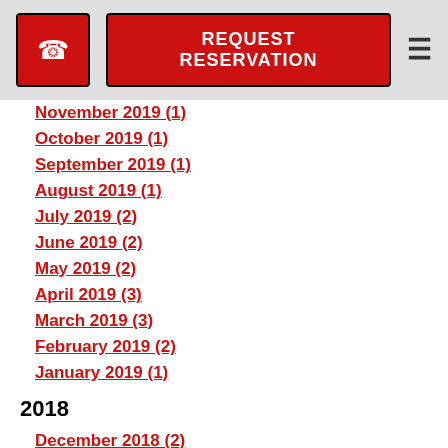REQUEST RESERVATION
November 2019 (1)
October 2019 (1)
September 2019 (1)
August 2019 (1)
July 2019 (2)
June 2019 (2)
May 2019 (2)
April 2019 (3)
March 2019 (3)
February 2019 (2)
January 2019 (1)
2018
December 2018 (2)
November 2018 (1)
October 2018 (2)
September 2018 (2)
August 2018 (1)
July 2018 (2)